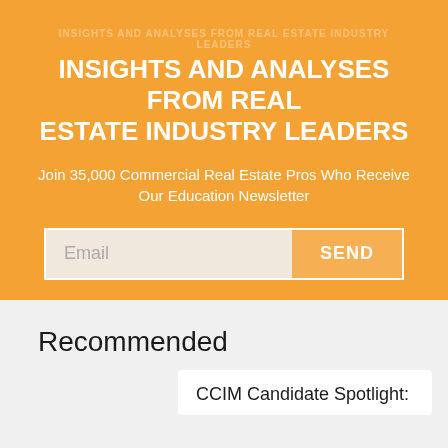INSIGHTS AND ANALYSES FROM REAL ESTATE INDUSTRY LEADERS
Join 35,000 Commercial Real Estate Pros Who Receive Our Education Newsletter
Recommended
CCIM Candidate Spotlight: